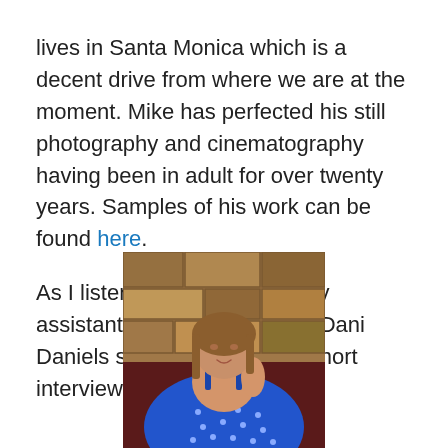lives in Santa Monica which is a decent drive from where we are at the moment. Mike has perfected his still photography and cinematography having been in adult for over twenty years. Samples of his work can be found here.
As I listen to Mike talk with my assistant, I drift back to what Dani Daniels said when we did a short interview before her shoot.
[Figure (photo): A woman with long brown hair wearing a blue polka dot dress, seated in front of a stone wall background, resting her chin on her hand and smiling.]